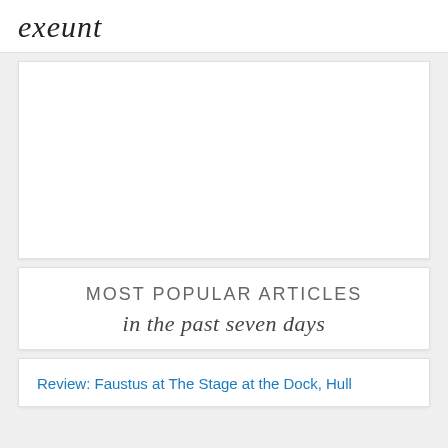exeunt
[Figure (other): Advertisement placeholder box, white background]
Most Popular Articles
in the past seven days
Review: Faustus at The Stage at the Dock, Hull